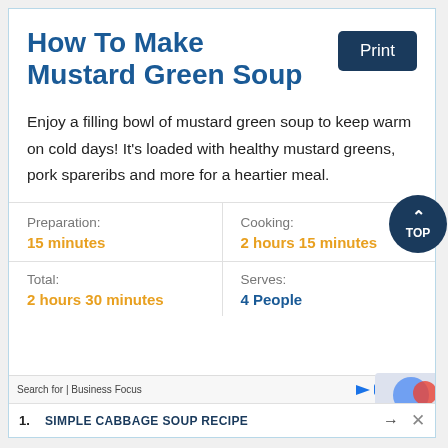How To Make Mustard Green Soup
Enjoy a filling bowl of mustard green soup to keep warm on cold days! It's loaded with healthy mustard greens, pork spareribs and more for a heartier meal.
| Preparation: | Cooking: |
| --- | --- |
| 15 minutes | 2 hours 15 minutes |
| Total: | Serves: |
| 2 hours 30 minutes | 4 People |
Search for | Business Focus   1.  SIMPLE CABBAGE SOUP RECIPE →